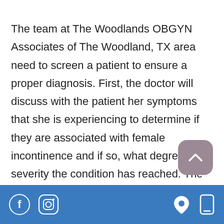The team at The Woodlands OBGYN Associates of The Woodland, TX area need to screen a patient to ensure a proper diagnosis. First, the doctor will discuss with the patient her symptoms that she is experiencing to determine if they are associated with female incontinence and if so, what degree of severity the condition has reached. The diagnosis may be made with certain screening tests, including:
[Figure (other): Scroll-to-top button: rounded square button with mauve/dusty rose background and a white upward chevron (^) arrow]
Footer bar with Facebook icon, Instagram icon on the left, and location pin icon, mobile phone icon on the right